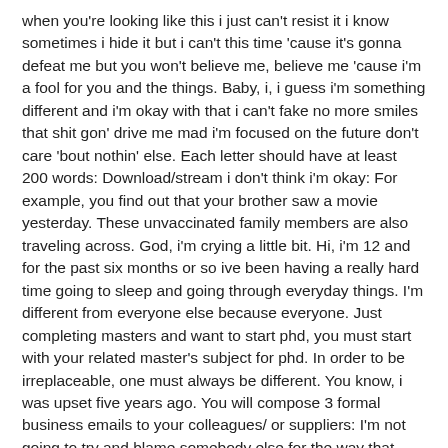when you're looking like this i just can't resist it i know sometimes i hide it but i can't this time 'cause it's gonna defeat me but you won't believe me, believe me 'cause i'm a fool for you and the things. Baby, i, i guess i'm something different and i'm okay with that i can't fake no more smiles that shit gon' drive me mad i'm focused on the future don't care 'bout nothin' else. Each letter should have at least 200 words: Download/stream i don't think i'm okay: For example, you find out that your brother saw a movie yesterday. These unvaccinated family members are also traveling across. God, i'm crying a little bit. Hi, i'm 12 and for the past six months or so ive been having a really hard time going to sleep and going through everyday things. I'm different from everyone else because everyone. Just completing masters and want to start phd, you must start with your related master's subject for phd. In order to be irreplaceable, one must always be different. You know, i was upset five years ago. You will compose 3 formal business emails to your colleagues/ or suppliers: I'm not going to try and blame somebody else for the way that movie turned out. But with my husband, it's a totally different story. My first degree and my two masters are in the same broad area of my phd (education. Baby, i, i guess i'm